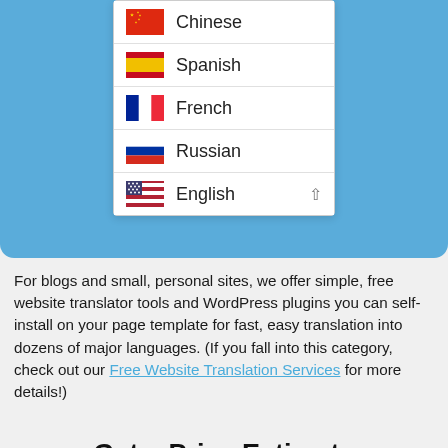[Figure (screenshot): A dropdown language selector UI showing flags and language names: Chinese, Spanish, French, Russian, English (with chevron up icon), on a blue background]
For blogs and small, personal sites, we offer simple, free website translator tools and WordPress plugins you can self-install on your page template for fast, easy translation into dozens of major languages. (If you fall into this category, check out our Free Website Translation Services for more details!)
Get a Price Estimate
First Name